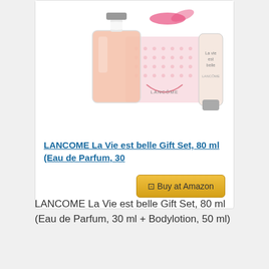[Figure (photo): Lancome La Vie est belle gift set product photo showing a glass perfume bottle with pink/peach liquid, a pink decorative box with dot pattern, and a body lotion tube, all on white background]
LANCOME La Vie est belle Gift Set, 80 ml (Eau de Parfum, 30
Buy at Amazon
LANCOME La Vie est belle Gift Set, 80 ml (Eau de Parfum, 30 ml + Bodylotion, 50 ml)